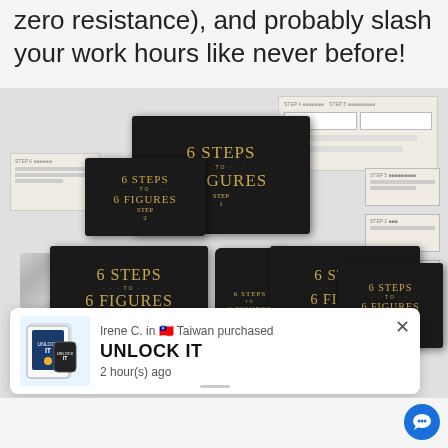zero resistance), and probably slash your work hours like never before!
[Figure (illustration): Product bundle mockup showing multiple dark-themed device screens (tablets, phones, laptops) each displaying '6 STEPS ... TO ... 6 FIGURES' in gold serif text with step numbers 1-6. Worksheets/workbooks shown in background. A purchase notification popup at bottom shows Irene C. in Taiwan purchased UNLOCK IT 2 hour(s) ago.]